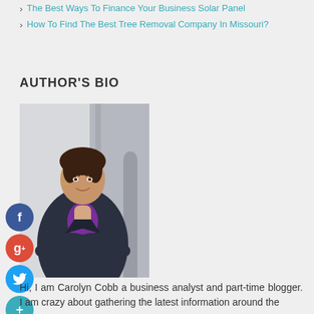The Best Ways To Finance Your Business Solar Panel
How To Find The Best Tree Removal Company In Missouri?
AUTHOR'S BIO
[Figure (photo): Professional headshot of Carolyn Cobb, a woman in a dark blazer with purple collar, arms crossed, smiling, standing against a stone architectural background]
Hi, I am Carolyn Cobb a business analyst and part-time blogger. I am crazy about gathering the latest information around the